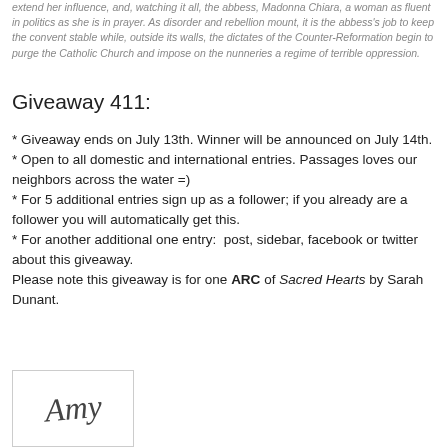extend her influence, and, watching it all, the abbess, Madonna Chiara, a woman as fluent in politics as she is in prayer. As disorder and rebellion mount, it is the abbess's job to keep the convent stable while, outside its walls, the dictates of the Counter-Reformation begin to purge the Catholic Church and impose on the nunneries a regime of terrible oppression.
Giveaway 411:
* Giveaway ends on July 13th. Winner will be announced on July 14th.
* Open to all domestic and international entries. Passages loves our neighbors across the water =)
* For 5 additional entries sign up as a follower; if you already are a follower you will automatically get this.
* For another additional one entry:  post, sidebar, facebook or twitter about this giveaway.
Please note this giveaway is for one ARC of Sacred Hearts by Sarah Dunant.
[Figure (illustration): Handwritten cursive signature reading 'Amy' in a bordered box]